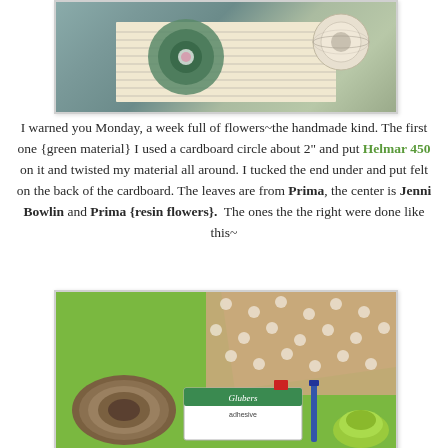[Figure (photo): Top photo showing handmade fabric flowers on an open book, with a spool of twine/rope visible]
I warned you Monday, a week full of flowers~the handmade kind. The first one {green material} I used a cardboard circle about 2" and put Helmar 450 on it and twisted my material all around. I tucked the end under and put felt on the back of the cardboard. The leaves are from Prima, the center is Jenni Bowlin and Prima {resin flowers}.  The ones the the right were done like this~
[Figure (photo): Bottom photo showing crafting supplies on a green background: a spool of brown twine, polka dot fabric, a Glubers glue box with red cap, and green yarn]